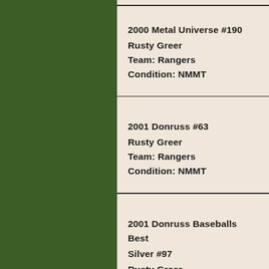2000 Metal Universe #190
Rusty Greer
Team: Rangers
Condition: NMMT
2001 Donruss #63
Rusty Greer
Team: Rangers
Condition: NMMT
2001 Donruss Baseballs Best Silver #97
Rusty Greer